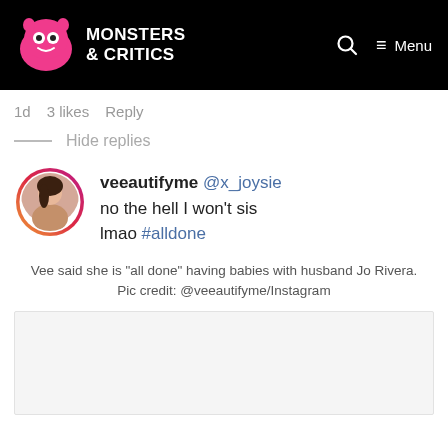Monsters & Critics — Menu
1d   3 likes   Reply
— Hide replies
[Figure (photo): Instagram comment screenshot: veeautifyme @x_joysie no the hell I won't sis lmao #alldone, with circular avatar photo of a woman]
Vee said she is "all done" having babies with husband Jo Rivera. Pic credit: @veeautifyme/Instagram